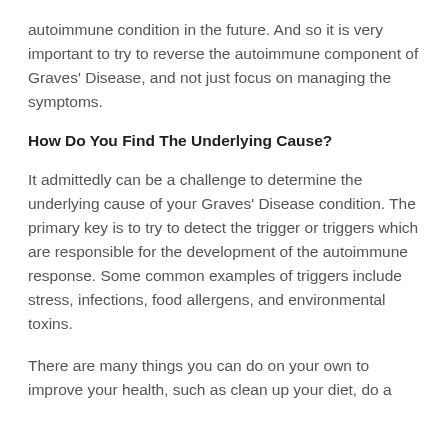autoimmune condition in the future.  And so it is very important to try to reverse the autoimmune component of Graves' Disease, and not just focus on managing the symptoms.
How Do You Find The Underlying Cause?
It admittedly can be a challenge to determine the underlying cause of your Graves' Disease condition.  The primary key is to try to detect the trigger or triggers which are responsible for the development of the autoimmune response.  Some common examples of triggers include stress, infections, food allergens, and environmental toxins.
There are many things you can do on your own to improve your health, such as clean up your diet, do a